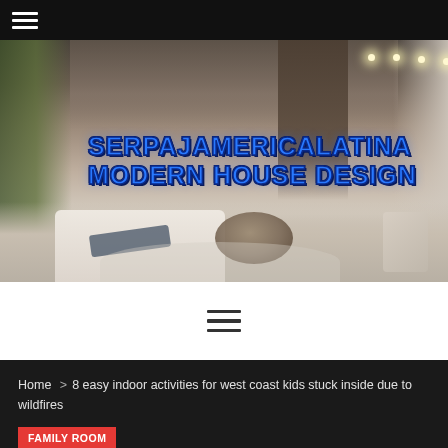≡
[Figure (photo): Interior of a modern luxury living room with large open floor plan, neutral tones, sectional sofa, round coffee table, staircase in background, floor-to-ceiling windows. Text overlay reads: SERPAJAMERICALATINA MODERN HOUSE DESIGN in blue bold Impact font with dark outline.]
≡ (hamburger menu icon, dark on white background)
Home > 8 easy indoor activities for west coast kids stuck inside due to wildfires
FAMILY ROOM